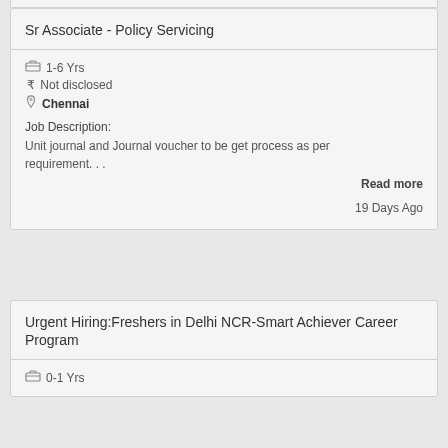Sr Associate - Policy Servicing
1-6 Yrs
₹ Not disclosed
Chennai
Job Description:
Unit journal and Journal voucher to be get process as per requirement...
Read more
19 Days Ago
Urgent Hiring:Freshers in Delhi NCR-Smart Achiever Career Program
0-1 Yrs